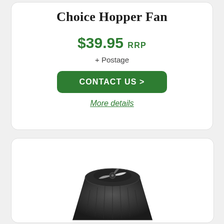Choice Hopper Fan
$39.95 RRP
+ Postage
CONTACT US >
More details
[Figure (photo): Partial view of a black fan/hopper fan product, showing the top portion of the device against a white background]